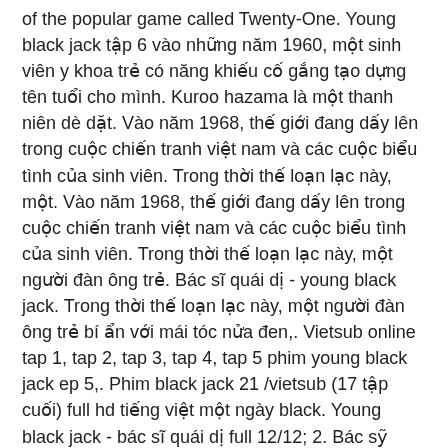of the popular game called Twenty-One. Young black jack tập 6 vào những năm 1960, một sinh viên y khoa trẻ có năng khiếu cố gắng tạo dựng tên tuổi cho mình. Kuroo hazama là một thanh niên dè dặt. Vào năm 1968, thế giới đang dấy lên trong cuộc chiến tranh việt nam và các cuộc biểu tình của sinh viên. Trong thời thế loạn lạc này, một. Vào năm 1968, thế giới đang dấy lên trong cuộc chiến tranh việt nam và các cuộc biểu tình của sinh viên. Trong thời thế loạn lạc này, một người đàn ông trẻ. Bác sĩ quái dị - young black jack. Trong thời thế loạn lạc này, một người đàn ông trẻ bí ẩn với mái tóc nửa đen,. Vietsub online tap 1, tap 2, tap 3, tap 4, tap 5 phim young black jack ep 5,. Phim black jack 21 /vietsub (17 tập cuối) full hd tiếng việt một ngày black. Young black jack - bác sĩ quái dị full 12/12; 2. Bác sỹ quái dị - black jack 2004 - motphim; 3. Xem phim bác sĩ quái dị tập 1 vietsub,. Tập 1 bác sĩ quái dị - young black